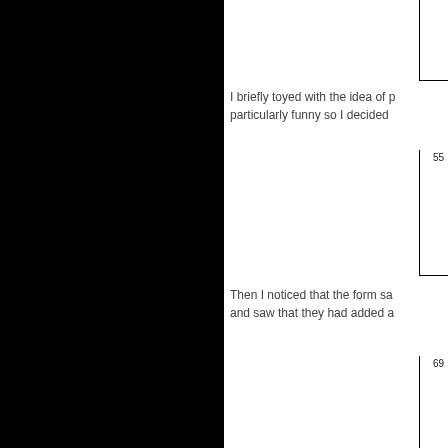[Figure (other): Partial view of a boxed image or figure, top right corner only visible]
I briefly toyed with the idea of p particularly funny so I decided
[Figure (other): Boxed figure with number 55 visible at top right]
Then I noticed that the form sa and saw that they had added a
[Figure (other): Boxed figure with number 69 visible at top right]